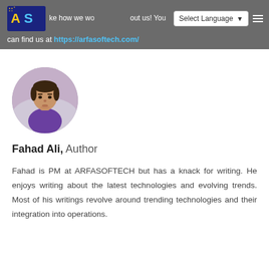like how we w... out us! You can find us at https://arfasoftech.com/
[Figure (photo): Circular profile photo of Fahad Ali, a young man wearing a purple hoodie]
Fahad Ali, Author
Fahad is PM at ARFASOFTECH but has a knack for writing. He enjoys writing about the latest technologies and evolving trends. Most of his writings revolve around trending technologies and their integration into operations.